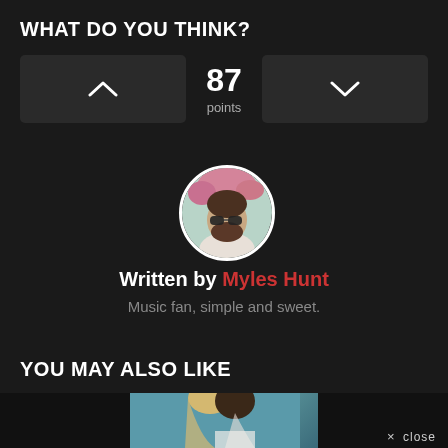WHAT DO YOU THINK?
87 points
[Figure (photo): Circular profile photo of Myles Hunt, a man with sunglasses and a beard, outdoors with flowers in background]
Written by Myles Hunt
Music fan, simple and sweet.
YOU MAY ALSO LIKE
[Figure (photo): Thumbnail images strip showing partial photos of people for 'You May Also Like' section]
× close